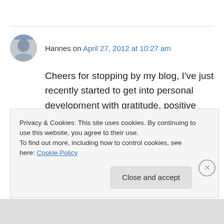Hannes on April 27, 2012 at 10:27 am
Cheers for stopping by my blog, I've just recently started to get into personal development with gratitude, positive psychology, meditation, happiness, mindsets and all that stuff. Glad to see that someone else also shares similar
Privacy & Cookies: This site uses cookies. By continuing to use this website, you agree to their use.
To find out more, including how to control cookies, see here: Cookie Policy
Close and accept